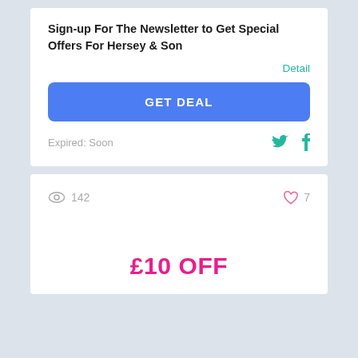Sign-up For The Newsletter to Get Special Offers For Hersey & Son
Detail
GET DEAL
Expired: Soon
142
7
£10 OFF